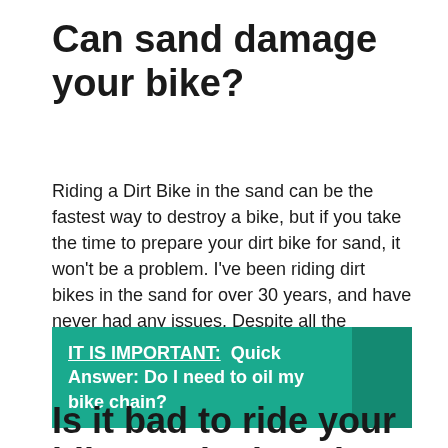Can sand damage your bike?
Riding a Dirt Bike in the sand can be the fastest way to destroy a bike, but if you take the time to prepare your dirt bike for sand, it won’t be a problem. I’ve been riding dirt bikes in the sand for over 30 years, and have never had any issues. Despite all the dangers, it sure is a lot of fun!
IT IS IMPORTANT:  Quick Answer: Do I need to oil my bike chain?
Is it bad to ride your bike on the beach?